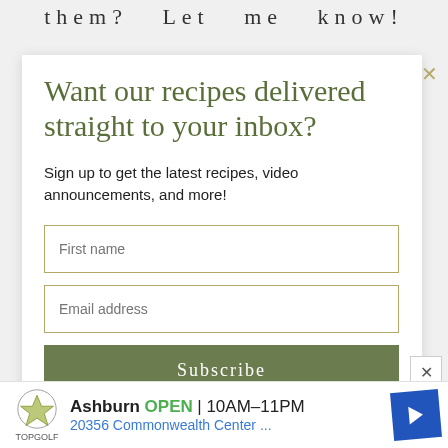them?  Let  me  know!
Want our recipes delivered straight to your inbox?
Sign up to get the latest recipes, video announcements, and more!
First name
Email address
Subscribe
[Figure (screenshot): Advertisement banner for TopGolf Ashburn showing OPEN 10AM-11PM and address 20356 Commonwealth Center...]